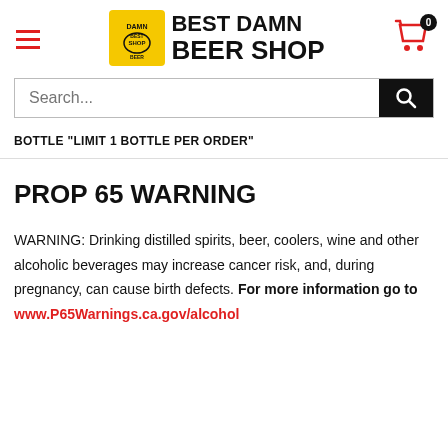[Figure (logo): Best Damn Beer Shop logo with yellow badge and hamburger menu on left, shopping cart icon with 0 badge on right]
Search...
BOTTLE "LIMIT 1 BOTTLE PER ORDER"
PROP 65 WARNING
WARNING: Drinking distilled spirits, beer, coolers, wine and other alcoholic beverages may increase cancer risk, and, during pregnancy, can cause birth defects. For more information go to www.P65Warnings.ca.gov/alcohol